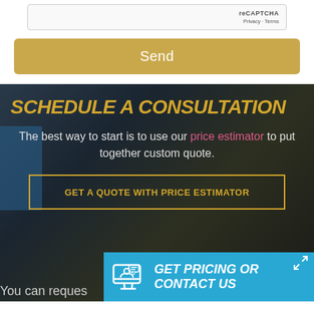[Figure (screenshot): reCAPTCHA widget showing 'reCAPTCHA' brand text and 'Privacy · Terms' links]
Send
SCHEDULE A CONSULTATION
The best way to start is to use our price estimator to put together custom quote.
GET A QUOTE WITH PRICE ESTIMATOR
GET PRICING OR CONTACT US
You can reques